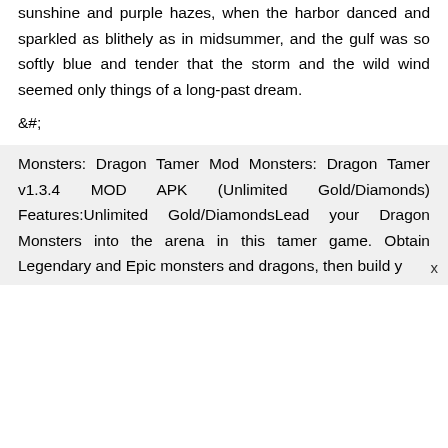sunshine and purple hazes, when the harbor danced and sparkled as blithely as in midsummer, and the gulf was so softly blue and tender that the storm and the wild wind seemed only things of a long-past dream.
&#;
Monsters: Dragon Tamer Mod Monsters: Dragon Tamer v1.3.4 MOD APK (Unlimited Gold/Diamonds) Features:Unlimited Gold/DiamondsLead your Dragon Monsters into the arena in this tamer game. Obtain Legendary and Epic monsters and dragons, then build y